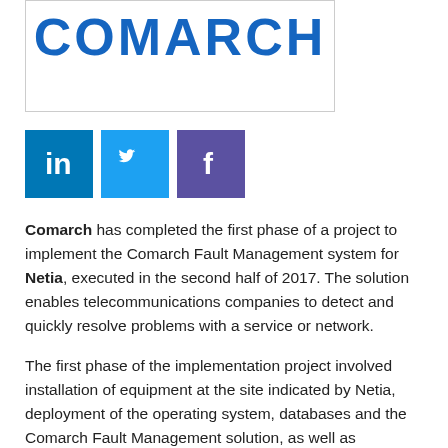[Figure (logo): Comarch company logo — bold blue uppercase letters spelling COMARCH inside a bordered box]
[Figure (infographic): Three social media icon buttons: LinkedIn (blue), Twitter (light blue), Facebook (purple)]
Comarch has completed the first phase of a project to implement the Comarch Fault Management system for Netia, executed in the second half of 2017. The solution enables telecommunications companies to detect and quickly resolve problems with a service or network.
The first phase of the implementation project involved installation of equipment at the site indicated by Netia, deployment of the operating system, databases and the Comarch Fault Management solution, as well as configuration and integration with the Netia Group's network systems. At this stage of the project, Comarch completed…